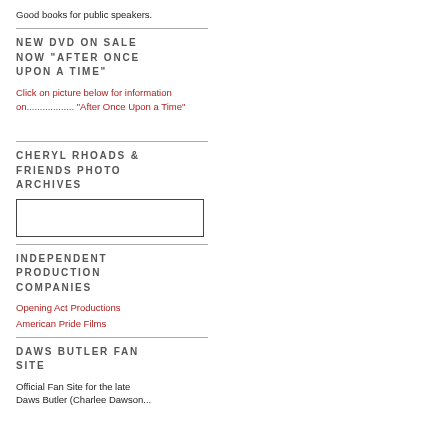Good books for public speakers.
NEW DVD ON SALE NOW "AFTER ONCE UPON A TIME"
Click on picture below for information on.................. "After Once Upon a Time"
CHERYL RHOADS & FRIENDS PHOTO ARCHIVES
[Figure (other): Empty placeholder image box]
INDEPENDENT PRODUCTION COMPANIES
Opening Act Productions
American Pride Films
DAWS BUTLER FAN SITE
Official Fan Site for the late Daws Butler (Charlee Dawson...